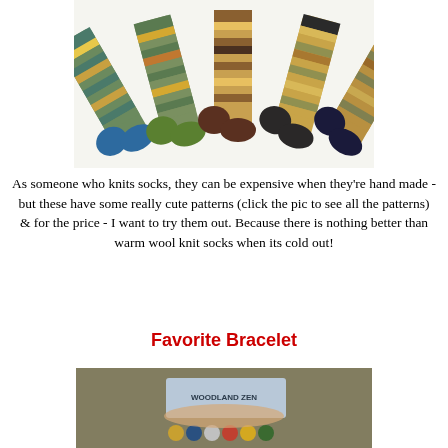[Figure (photo): Five colorful patterned wool knit socks fanned out on a white background, showing various folk/Fair Isle patterns in green, teal, orange, and brown tones with contrasting toe and heel colors.]
As someone who knits socks, they can be expensive when they're hand made - but these have some really cute patterns (click the pic to see all the patterns) & for the price - I want to try them out. Because there is nothing better than warm wool knit socks when its cold out!
Favorite Bracelet
[Figure (photo): A hand holding a small card labeled 'Woodland Zen' with colorful bead bracelets visible below, set against a blurred outdoor background.]